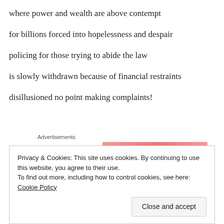where power and wealth are above contempt
for billions forced into hopelessness and despair
policing for those trying to abide the law
is slowly withdrawn because of financial restraints
disillusioned no point making complaints!
[Figure (other): WordPress VIP advertisement banner with orange/pink gradient background and a 'Learn more' button]
Privacy & Cookies: This site uses cookies. By continuing to use this website, you agree to their use.
To find out more, including how to control cookies, see here: Cookie Policy
Close and accept